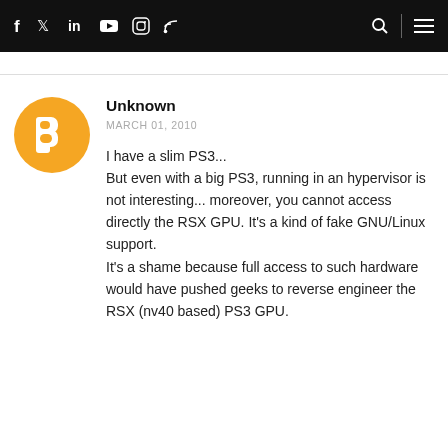f  y  in  yt  instagram  rss  [search] [menu]
[Figure (illustration): Blogger orange circle avatar icon with white 'B' logo]
Unknown
MARCH 01, 2010

I have a slim PS3...
But even with a big PS3, running in an hypervisor is not interesting... moreover, you cannot access directly the RSX GPU. It's a kind of fake GNU/Linux support.
It's a shame because full access to such hardware would have pushed geeks to reverse engineer the RSX (nv40 based) PS3 GPU.